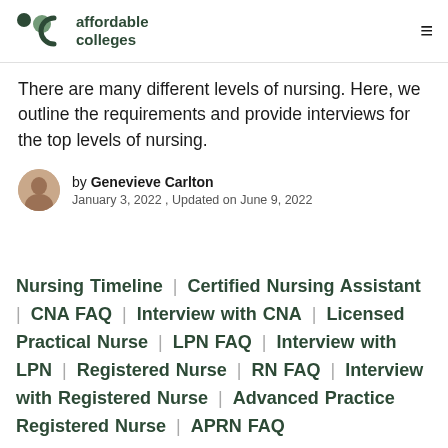affordable colleges
There are many different levels of nursing. Here, we outline the requirements and provide interviews for the top levels of nursing.
by Genevieve Carlton
January 3, 2022 , Updated on June 9, 2022
Nursing Timeline | Certified Nursing Assistant | CNA FAQ | Interview with CNA | Licensed Practical Nurse | LPN FAQ | Interview with LPN | Registered Nurse | RN FAQ | Interview with Registered Nurse | Advanced Practice Registered Nurse | APRN FAQ